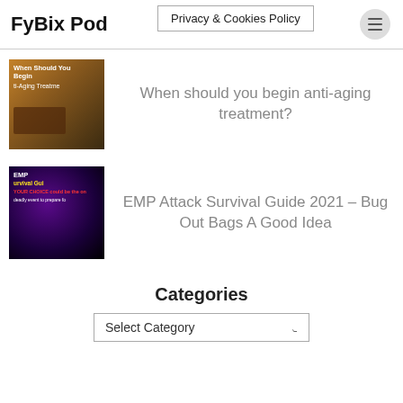FyBix Pod
Privacy & Cookies Policy
[Figure (illustration): Thumbnail image for anti-aging article showing warm brown tones with text 'When Should You Begin Anti-Aging Treatment']
When should you begin anti-aging treatment?
[Figure (illustration): Thumbnail image for EMP Attack Survival Guide article showing dark purple/black background with yellow text]
EMP Attack Survival Guide 2021 – Bug Out Bags A Good Idea
Categories
Select Category